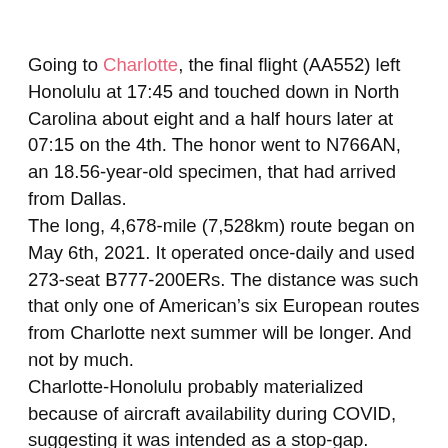Going to Charlotte, the final flight (AA552) left Honolulu at 17:45 and touched down in North Carolina about eight and a half hours later at 07:15 on the 4th. The honor went to N766AN, an 18.56-year-old specimen, that had arrived from Dallas.
The long, 4,678-mile (7,528km) route began on May 6th, 2021. It operated once-daily and used 273-seat B777-200ERs. The distance was such that only one of American's six European routes from Charlotte next summer will be longer. And not by much.
Charlotte-Honolulu probably materialized because of aircraft availability during COVID, suggesting it was intended as a stop-gap. Aircraft were available that would ordinarily be for international long-haul services. As domestic leisure demand remained buoyant, it decided to try it. Like JetBlue, American tried 'risky' or